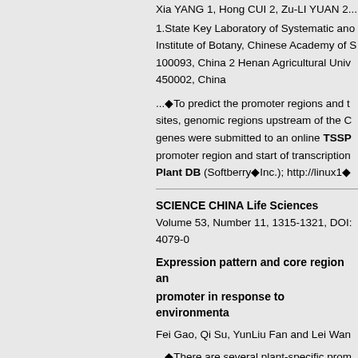Xia YANG 1, Hong CUI 2, Zu-LI YUAN 2 1.State Key Laboratory of Systematic and Institute of Botany, Chinese Academy of S 100093, China 2 Henan Agricultural Univ 450002, China
...◆To predict the promoter regions and t sites, genomic regions upstream of the C genes were submitted to an online TSSP promoter region and start of transcription Plant DB (Softberry◆Inc.); http://linux1◆
SCIENCE CHINA Life Sciences Volume 53, Number 11, 1315-1321, DOI: 4079-0
Expression pattern and core region an promoter in response to environmenta
Fei Gao, Qi Su, YunLiu Fan and Lei Wan
...◆There are several plant-specific prom information on cis-acting elements, which of transcription by binding corresponding These databases include PlantCARE [23 (http://softberry.◆...
Methods Mol Biol. 2010;674:57-82.